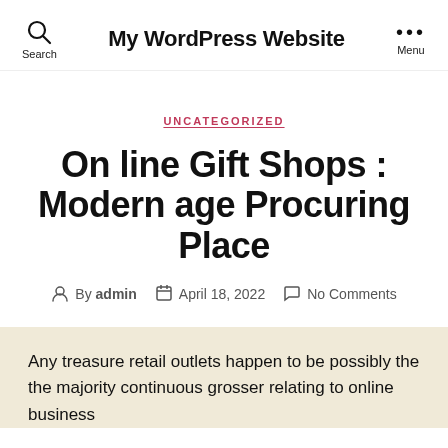My WordPress Website
UNCATEGORIZED
On line Gift Shops : Modern age Procuring Place
By admin   April 18, 2022   No Comments
Any treasure retail outlets happen to be possibly the the majority continuous grosser relating to online business